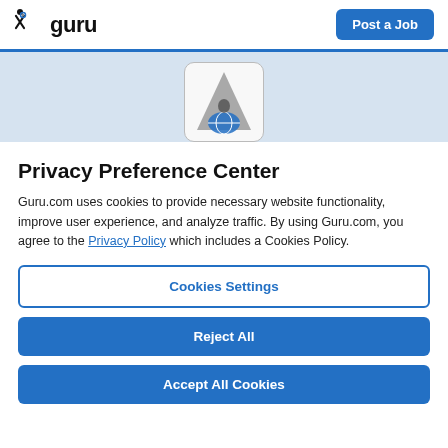guru — Post a Job
[Figure (logo): Company profile logo: a triangular/mountain shape with a globe icon, shown in a rounded square card against a light blue banner background]
Privacy Preference Center
Guru.com uses cookies to provide necessary website functionality, improve user experience, and analyze traffic. By using Guru.com, you agree to the Privacy Policy which includes a Cookies Policy.
Cookies Settings
Reject All
Accept All Cookies